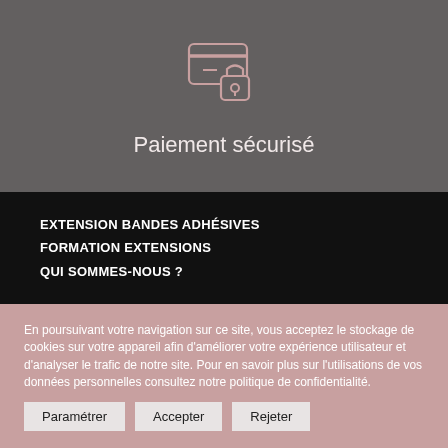[Figure (illustration): Icon of a credit card with a padlock overlaid, drawn in pink/rose outline style on a dark grey background]
Paiement sécurisé
EXTENSION BANDES ADHÉSIVES
FORMATION EXTENSIONS
QUI SOMMES-NOUS ?
En poursuivant votre navigation sur ce site, vous acceptez le stockage de cookies sur votre appareil afin d'améliorer votre expérience utilisateur et d'analyser le trafic de notre site. Pour en savoir plus sur l'utilisations de vos données personnelles consultez notre politique de confidentialité.